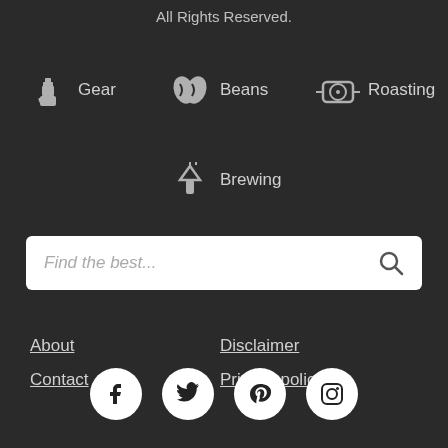All Rights Reserved.
Gear
Beans
Roasting
Brewing
Find the best...
About
Disclaimer
Contact
Privacy policy
[Figure (other): Social media icons: Facebook, Twitter, Pinterest, Instagram]